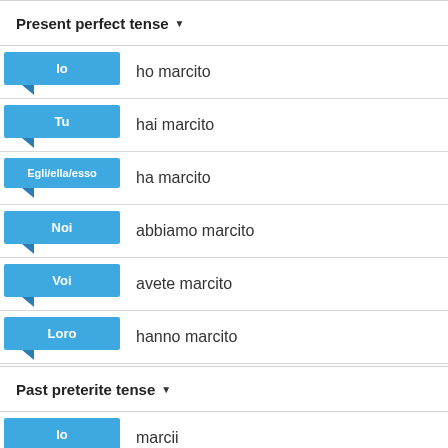Present perfect tense
Io — ho marcito
Tu — hai marcito
Egli/ella/esso — ha marcito
Noi — abbiamo marcito
Voi — avete marcito
Loro — hanno marcito
Past preterite tense
Io — marcii